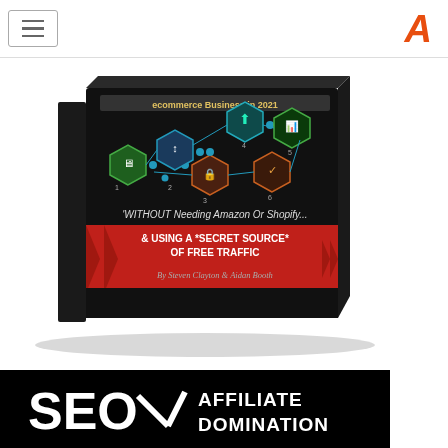[Figure (screenshot): Website navigation bar with hamburger menu button on the left and a stylized orange/red letter A logo on the right]
[Figure (photo): Book cover titled '& USING A *SECRET SOURCE* OF FREE TRAFFIC' with hexagonal icons and text 'WITHOUT Needing Amazon Or Shopify...' and 'By Steven Clayton & Aidan Booth' on a dark background — a 3D rendered book image for an ecommerce/affiliate course]
[Figure (logo): SEO Affiliate Domination logo — white bold text on black background with an arrow/checkmark graphic integrated into the SEO letters]